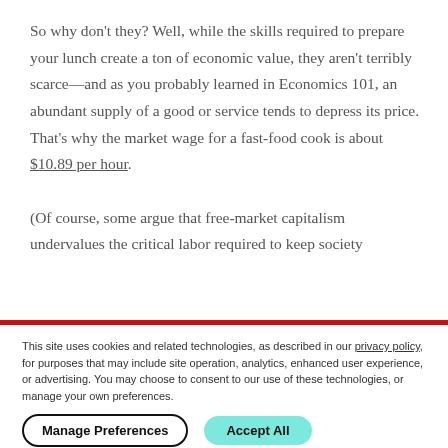So why don't they? Well, while the skills required to prepare your lunch create a ton of economic value, they aren't terribly scarce—and as you probably learned in Economics 101, an abundant supply of a good or service tends to depress its price. That's why the market wage for a fast-food cook is about $10.89 per hour.
(Of course, some argue that free-market capitalism undervalues the critical labor required to keep society functioning. But more on that in a moment.)
This site uses cookies and related technologies, as described in our privacy policy, for purposes that may include site operation, analytics, enhanced user experience, or advertising. You may choose to consent to our use of these technologies, or manage your own preferences.